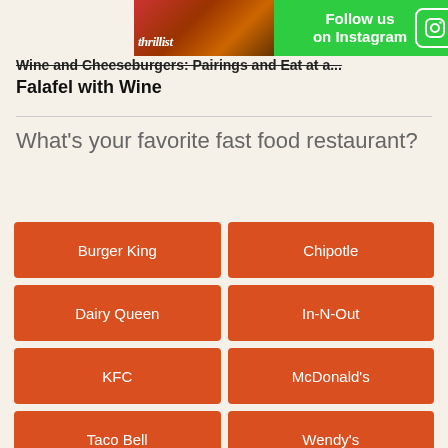[Figure (advertisement): Thrillist ad banner with green background showing 'Follow us on Instagram' with Instagram icon]
Falafel with Wine
What's your favorite fast food restaurant?
Burger King
Chipotle
Dairy Queen
In-N-Out
KFC
McDonald's
Taco Bell
Wendy's
Other
None of the above